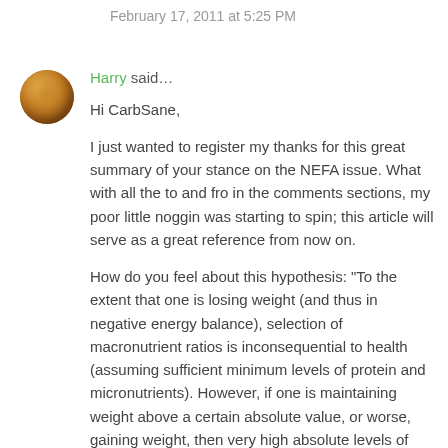February 17, 2011 at 5:25 PM
Harry said…
Hi CarbSane,

I just wanted to register my thanks for this great summary of your stance on the NEFA issue. What with all the to and fro in the comments sections, my poor little noggin was starting to spin; this article will serve as a great reference from now on.

How do you feel about this hypothesis: "To the extent that one is losing weight (and thus in negative energy balance), selection of macronutrient ratios is inconsequential to health (assuming sufficient minimum levels of protein and micronutrients). However, if one is maintaining weight above a certain absolute value, or worse, gaining weight, then very high absolute levels of dietary fat can cause deleterious levels of circulating NEFA, which is